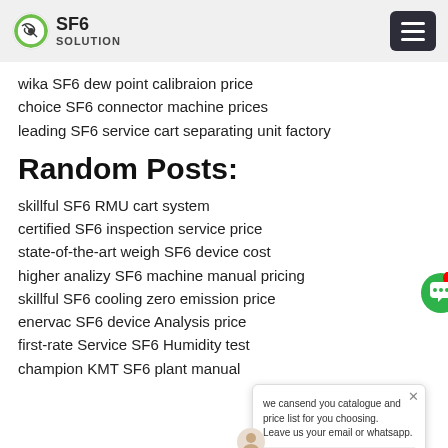SF6 SOLUTION
wika SF6 dew point calibraion price
choice SF6 connector machine prices
leading SF6 service cart separating unit factory
Random Posts:
skillful SF6 RMU cart system
certified SF6 inspection service price
state-of-the-art weigh SF6 device cost
higher analizy SF6 machine manual pricing
skillful SF6 cooling zero emission price
enervac SF6 device Analysis price
first-rate Service SF6 Humidity test
champion KMT SF6 plant manual